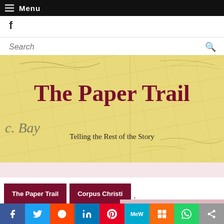Menu
[Figure (logo): Facebook 'f' icon link]
Search
[Figure (illustration): The Paper Trail blog banner with aged parchment/paper background, large title 'The Paper Trail' in dark red serif font, subtitle 'Telling the Rest of the Story', and faint cursive writing 'Bay' in background]
The Paper Trail
Telling the Rest of the Story
The Paper Trail  Corpus Christi ,
[Figure (infographic): Social share bar with icons: Facebook (blue), Twitter (light blue), Reddit (orange-red), LinkedIn (blue), Pinterest (red), MeWe (teal), Mix (orange), WhatsApp (green), Share (grey)]